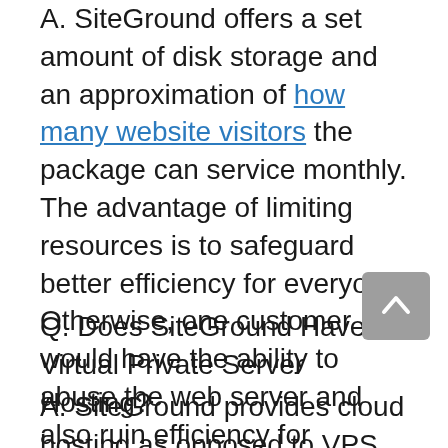A. SiteGround offers a set amount of disk storage and an approximation of how many website visitors the package can service monthly. The advantage of limiting resources is to safeguard better efficiency for everyone. Otherwise, one customer would have the ability to abuse the web server and also ruin efficiency for everyone else on the exact same server.
Q. Does SiteGround Have Virtual Private Server Hosting?
A. SiteGround provides cloud hosting as opposed to VPS hosting. Cloud hosting offers extremely similar specifications to VPS hosting, with the ability to scale up your plan when you need it. All cloud hosting bundles